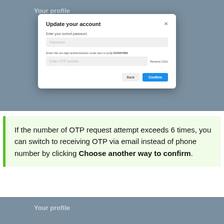[Figure (screenshot): Screenshot of a web application modal dialog titled 'Update your account' with fields for current password and OTP entry, plus Back and Confirm buttons. Background shows 'Your profile' page.]
If the number of OTP request attempt exceeds 6 times, you can switch to receiving OTP via email instead of phone number by clicking Choose another way to confirm.
[Figure (screenshot): Partial screenshot of 'Your profile' page background.]